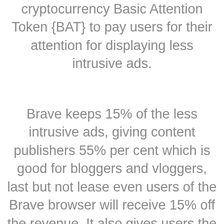cryptocurrency Basic Attention Token {BAT} to pay users for their attention for displaying less intrusive ads.
Brave keeps 15% of the less intrusive ads, giving content publishers 55% per cent which is good for bloggers and vloggers, last but not lease even users of the Brave browser will receive 15% off the revenue. It also gives users the option to donate BAT to content creators or sites they love.